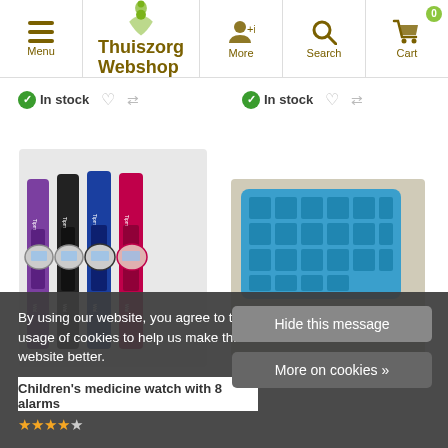Menu | Thuiszorg Webshop | More | Search | Cart 0
In stock
In stock
[Figure (photo): Four children's medicine watches with colored straps in purple, black, blue, and pink/red]
[Figure (photo): A blue pill organizer box with multiple compartments and a teal labeled strip in front]
By using our website, you agree to the usage of cookies to help us make this website better.
Hide this message
More on cookies »
Children's medicine watch with 8 alarms